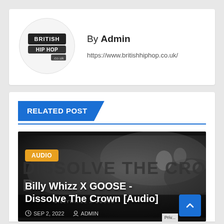[Figure (logo): British Hip Hop logo — graffiti-style text in a white circle]
By Admin
https://www.britishhiphop.co.uk/
RELATED POST
[Figure (photo): Black and white image with 'DISSOLVE THE CROWN' text and figures, with AUDIO badge overlay. Title: Billy Whizz X GOOSE - Dissolve The Crown [Audio]. Date: SEP 2, 2022. Author: ADMIN.]